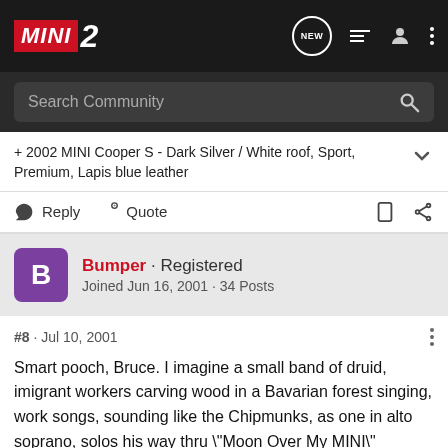MINI2
Search Community
+ 2002 MINI Cooper S - Dark Silver / White roof, Sport, Premium, Lapis blue leather
Reply  Quote
Bumper · Registered
Joined Jun 16, 2001 · 34 Posts
#8 · Jul 10, 2001
Smart pooch, Bruce. I imagine a small band of druid, imigrant workers carving wood in a Bavarian forest singing, work songs, sounding like the Chipmunks, as one in alto soprano, solos his way thru \"Moon Over My MINI\"